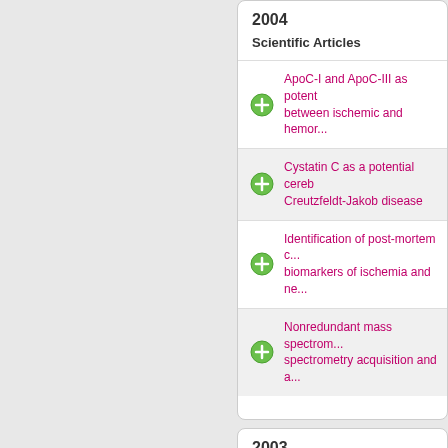2004
Scientific Articles
ApoC-I and ApoC-III as potent... between ischemic and hemor...
Cystatin C as a potential cereb... Creutzfeldt-Jakob disease
Identification of post-mortem c... biomarkers of ischemia and ne...
Nonredundant mass spectrom... spectrometry acquisition and a...
2003
Scientific Articles
Proteomics application exercis... of the SDS'02 session...